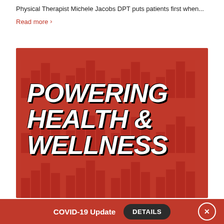Physical Therapist Michele Jacobs DPT puts patients first when...
Read more >
[Figure (illustration): Red background promotional image with bold white italic text reading 'POWERING HEALTH & WELLNESS' with decorative bar chart watermark pattern in background]
COVID-19 Update  DETAILS  X